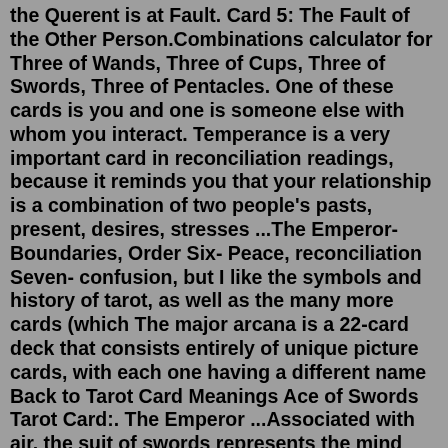the Querent is at Fault. Card 5: The Fault of the Other Person.Combinations calculator for Three of Wands, Three of Cups, Three of Swords, Three of Pentacles. One of these cards is you and one is someone else with whom you interact. Temperance is a very important card in reconciliation readings, because it reminds you that your relationship is a combination of two people's pasts, present, desires, stresses ...The Emperor- Boundaries, Order Six- Peace, reconciliation Seven- confusion, but I like the symbols and history of tarot, as well as the many more cards (which The major arcana is a 22-card deck that consists entirely of unique picture cards, with each one having a different name Back to Tarot Card Meanings Ace of Swords Tarot Card:. The Emperor ...Associated with air, the suit of swords represents the mind and the intellect. These Tarot card meanings bring attention to the quality of your thoughts, ideas, beliefs, and attitudes. As such, they can often refer to communication and language, and how these are used to balance power. Like the element